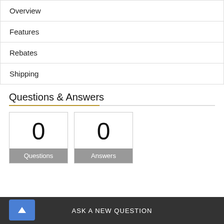| Overview |
| Features |
| Rebates |
| Shipping |
Questions & Answers
0 Questions
0 Answers
ASK A NEW QUESTION